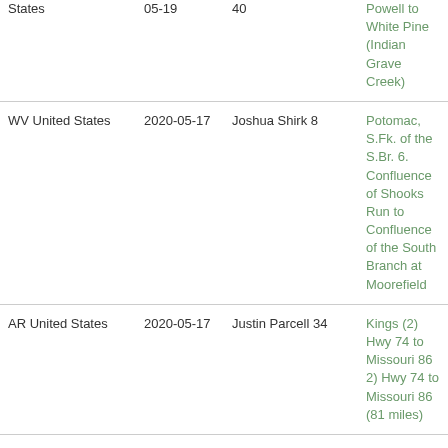| Location | Date | Person | Description |
| --- | --- | --- | --- |
| States | 05-19 | 40 | Powell to White Pine (Indian Grave Creek) |
| WV United States | 2020-05-17 | Joshua Shirk 8 | Potomac, S.Fk. of the S.Br. 6. Confluence of Shooks Run to Confluence of the South Branch at Moorefield |
| AR United States | 2020-05-17 | Justin Parcell 34 | Kings (2) Hwy 74 to Missouri 86 2) Hwy 74 to Missouri 86 (81 miles) |
| AR United States | 2020-05-16 | William Ealey 52 | Crooked Creek (Boone & Marion Co.) (Harman to Hwy 101 Boone & Marion Co.) (Harman to Hwy 101 (52 miles) |
| MD United States | 2020-05-08 | unidentified man | Potomac 7. Little Falls |